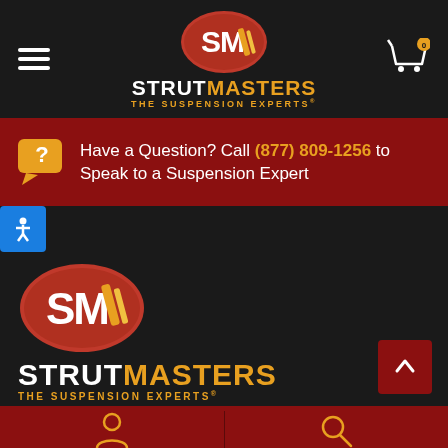[Figure (logo): Strutmasters SM oval logo and brand name in header navigation bar with hamburger menu and cart icon]
Have a Question? Call (877) 809-1256 to Speak to a Suspension Expert
[Figure (logo): Strutmasters SM oval logo and brand name in page body/footer area]
[Figure (other): Bottom navigation bar with person/account icon and search icon]